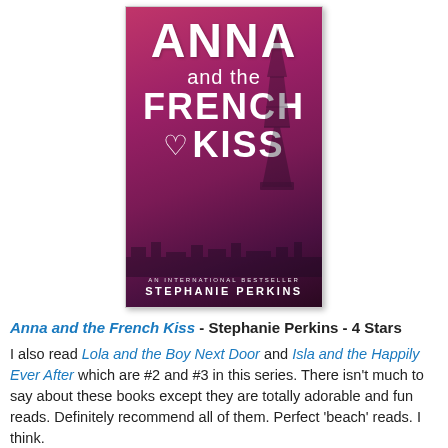[Figure (illustration): Book cover of 'Anna and the French Kiss' by Stephanie Perkins. Pink/magenta gradient background with Eiffel Tower silhouette and Paris cityscape. Large white text reads ANNA and the FRENCH KISS with a heart icon. Subtitle: AN INTERNATIONAL BESTSELLER. Author: STEPHANIE PERKINS.]
Anna and the French Kiss - Stephanie Perkins - 4 Stars
I also read Lola and the Boy Next Door and Isla and the Happily Ever After which are #2 and #3 in this series. There isn't much to say about these books except they are totally adorable and fun reads. Definitely recommend all of them. Perfect 'beach' reads. I think.